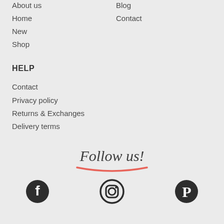About us
Blog
Home
Contact
New
Shop
HELP
Contact
Privacy policy
Returns & Exchanges
Delivery terms
Follow us!
[Figure (illustration): Three social media icons: Facebook, Instagram, Pinterest]